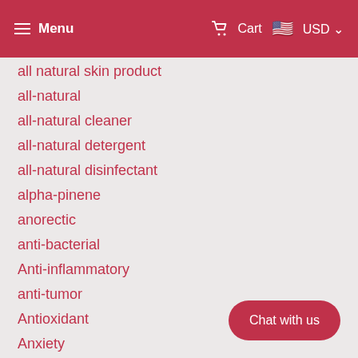Menu | Cart | USD
all natural skin product
all-natural
all-natural cleaner
all-natural detergent
all-natural disinfectant
alpha-pinene
anorectic
anti-bacterial
Anti-inflammatory
anti-tumor
Antioxidant
Anxiety
Anxiety remedies
aphrodisiac
Appetite
appetite boosting strains
appetite boosting terpenes